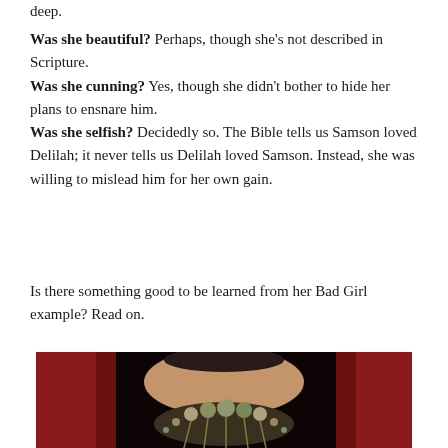deep.
Was she beautiful? Perhaps, though she's not described in Scripture. Was she cunning? Yes, though she didn't bother to hide her plans to ensnare him. Was she selfish? Decidedly so. The Bible tells us Samson loved Delilah; it never tells us Delilah loved Samson. Instead, she was willing to mislead him for her own gain.
Is there something good to be learned from her Bad Girl example? Read on.
[Figure (photo): Close-up photo of a woman with red hair and an ornate jeweled necklace/headpiece against a dark background.]